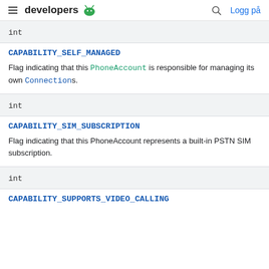developers  [android logo]  [search]  Logg på
| type | name | description |
| --- | --- | --- |
| int | CAPABILITY_SELF_MANAGED | Flag indicating that this PhoneAccount is responsible for managing its own Connections. |
| int | CAPABILITY_SIM_SUBSCRIPTION | Flag indicating that this PhoneAccount represents a built-in PSTN SIM subscription. |
| int | CAPABILITY_SUPPORTS_VIDEO_CALLING |  |